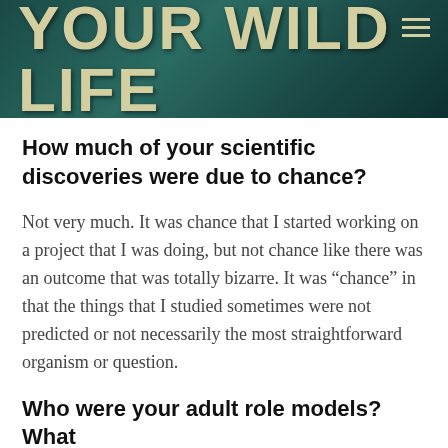[Figure (logo): Your Wild Life website header banner with dark teal textured background and distressed serif/display font logo text reading 'YOUR WILD LIFE' with a hamburger menu icon in the top right corner.]
How much of your scientific discoveries were due to chance?
Not very much. It was chance that I started working on a project that I was doing, but not chance like there was an outcome that was totally bizarre. It was “chance” in that the things that I studied sometimes were not predicted or not necessarily the most straightforward organism or question.
Who were your adult role models? What